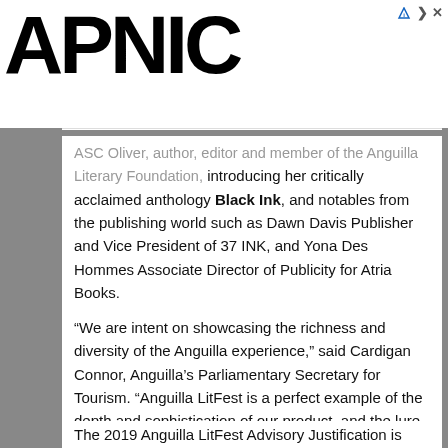[Figure (logo): APNIC logo in large bold black text]
Thank you for helping us measure the Internet.
...ASC Oliver, author, editor and member of the Anguilla Literary Foundation, introducing her critically acclaimed anthology Black Ink, and notables from the publishing world such as Dawn Davis Publisher and Vice President of 37 INK, and Yona Des Hommes Associate Director of Publicity for Atria Books.
“We are intent on showcasing the richness and diversity of the Anguilla experience,” said Cardigan Connor, Anguilla’s Parliamentary Secretary for Tourism. “Anguilla LitFest is a perfect example of the depth and sophistication of our product, and the lure that Anguilla presents to leading literary icons. I congratulate the members of the Anguilla Literary Foundation on what promises to be their best event ever, and look forward to another amazing event,” he concluded.
The 2019 Anguilla LitFest Advisory Justification is...